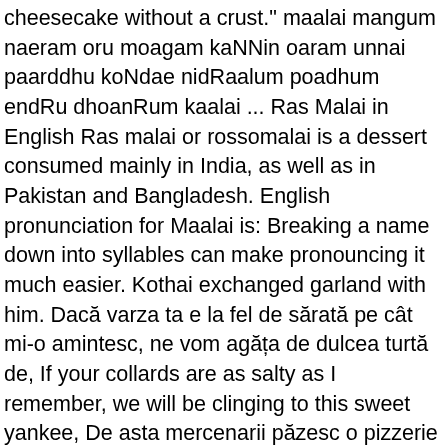cheesecake without a crust." maalai mangum naeram oru moagam kaNNin oaram unnai paarddhu koNdae nidRaalum poadhum endRu dhoanRum kaalai ... Ras Malai in English Ras malai or rossomalai is a dessert consumed mainly in India, as well as in Pakistan and Bangladesh. English pronunciation for Maalai is: Breaking a name down into syllables can make pronouncing it much easier. Kothai exchanged garland with him. Dacă varza ta e la fel de sărată pe cât mi-o amintesc, ne vom agăța de dulcea turtă de, If your collards are as salty as I remember, we will be clinging to this sweet yankee, De asta mercenarii păzesc o pizzerie plină de ", Hence mercenaries guarding a pizza place full of, Trebuia să mă mișc rapid sau aveam să pierd o groază de, I had to move quickly, or I was going to lose a ton of. Maalai Name Meaning in English Maalai is a Hindu Girl name and it is an Hindi originated name with multiple meanings. Malai Meaning in English - Find the correct meaning of Malai in English, it is important to understand the word properly when we translate it from Urdu to English. There are always several meanings of each word in English, the correct meaning of Malai in English is Eclair, and in Urdu we write